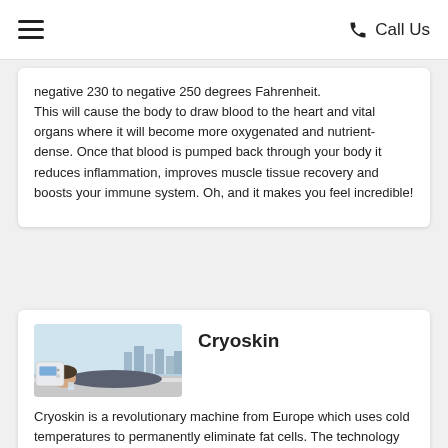≡   Call Us
negative 230 to negative 250 degrees Fahrenheit.
This will cause the body to draw blood to the heart and vital organs where it will become more oxygenated and nutrient-dense. Once that blood is pumped back through your body it reduces inflammation, improves muscle tissue recovery and boosts your immune system. Oh, and it makes you feel incredible!
[Figure (photo): A person lying on a treatment table next to a cryoskin machine, with a city skyline visible through large windows in the background.]
Cryoskin
Cryoskin is a revolutionary machine from Europe which uses cold temperatures to permanently eliminate fat cells. The technology can be applied using both the traditional massage...